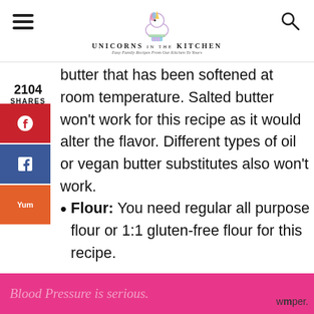UNICORNS IN THE KITCHEN – Easy Family Recipes From Our Kitchen To Yours
butter that has been softened at room temperature. Salted butter won't work for this recipe as it would alter the flavor. Different types of oil or vegan butter substitutes also won't work.
Flour: You need regular all purpose flour or 1:1 gluten-free flour for this recipe.
Coconut: It's best to use desiccated
Blood Pressure is serious.
2104 SHARES